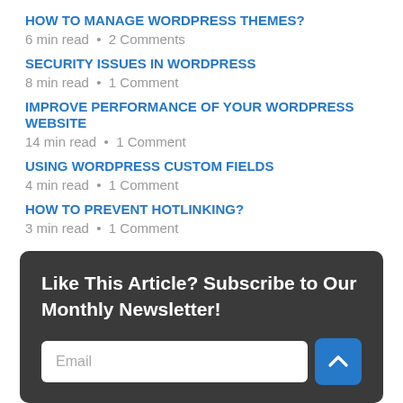HOW TO MANAGE WORDPRESS THEMES?
6 min read • 2 Comments
SECURITY ISSUES IN WORDPRESS
8 min read • 1 Comment
IMPROVE PERFORMANCE OF YOUR WORDPRESS WEBSITE
14 min read • 1 Comment
USING WORDPRESS CUSTOM FIELDS
4 min read • 1 Comment
HOW TO PREVENT HOTLINKING?
3 min read • 1 Comment
Like This Article? Subscribe to Our Monthly Newsletter!
Email